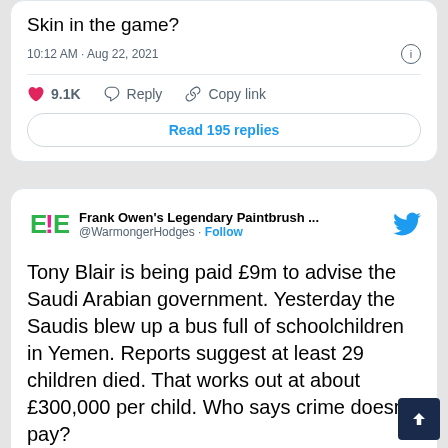Skin in the game?
10:12 AM · Aug 22, 2021
9.1K  Reply  Copy link
Read 195 replies
Frank Owen's Legendary Paintbrush ... @WarmongerHodges · Follow
Tony Blair is being paid £9m to advise the Saudi Arabian government. Yesterday the Saudis blew up a bus full of schoolchildren in Yemen. Reports suggest at least 29 children died. That works out at about £300,000 per child. Who says crime doesn't pay?